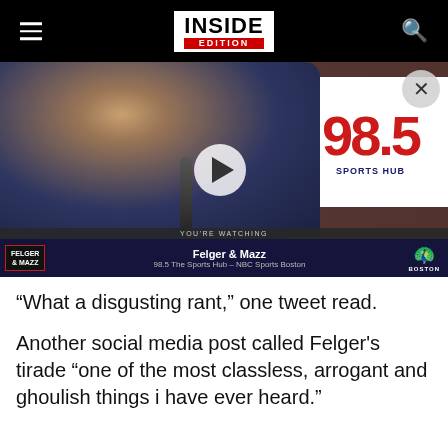INSIDE EDITION
[Figure (screenshot): Video thumbnail showing a man wearing headphones at a radio microphone in a studio with a 98.5 Sports Hub sign visible in the background. A play button overlay is shown in the center. Lower third chyron reads 'Felger & Mazz / 98.5 The Sports Hub – NBC Sports Boston'. Close button (X) visible top right.]
“What a disgusting rant,” one tweet read.
Another social media post called Felger's tirade “one of the most classless, arrogant and ghoulish things i have ever heard.”